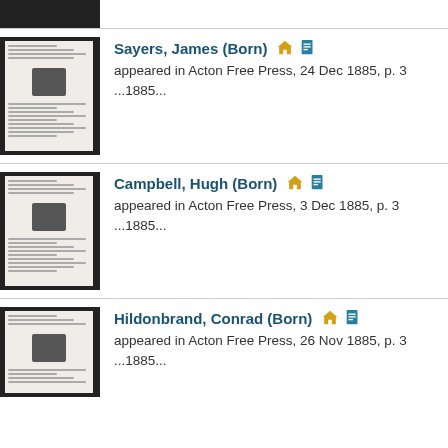Sayers, James (Born) — appeared in Acton Free Press, 24 Dec 1885, p. 3 ...1885...
Campbell, Hugh (Born) — appeared in Acton Free Press, 3 Dec 1885, p. 3 ...1885...
Hildonbrand, Conrad (Born) — appeared in Acton Free Press, 26 Nov 1885, p. 3 ...1885...